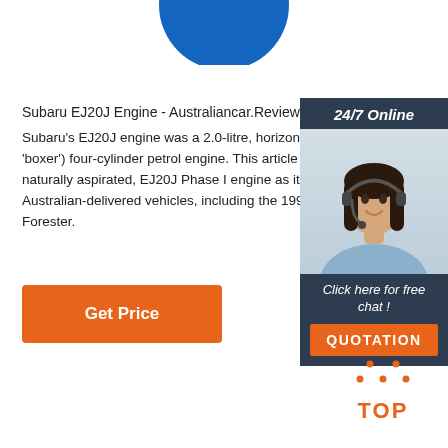[Figure (illustration): Blue circle partially visible at top center of page, cropped at top edge]
Subaru EJ20J Engine - Australiancar.Reviews
Subaru's EJ20J engine was a 2.0-litre, horizontally-o('boxer') four-cylinder petrol engine. This article consnaturally aspirated, EJ20J Phase I engine as it wasAustralian-delivered vehicles, including the 1997-98Forester.
[Figure (infographic): Advertisement panel on right side with dark teal background showing '24/7 Online' header, photo of woman with headset smiling, text 'Click here for free chat!' and orange QUOTATION button]
[Figure (illustration): Orange 'Get Price' button]
[Figure (illustration): Orange 'TOP' navigation button with dotted triangle arrow at bottom right]